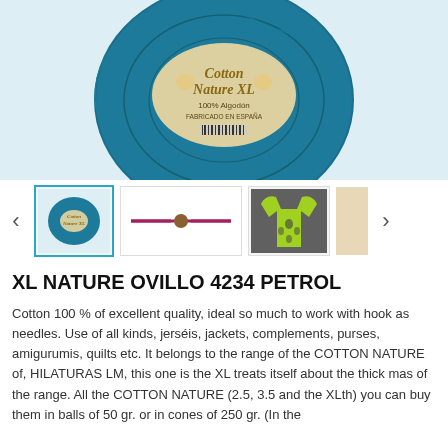[Figure (photo): Main product photo: teal/petrol colored ball of Cotton Nature XL yarn with label showing '100% Algodón FABRICADO EN ESPAÑA']
[Figure (photo): Thumbnail row with 4 images: selected teal yarn ball, red/maroon cord with wooden bead, lime green knitted sweater/jacket, partial view of fourth image. Navigation arrows on sides.]
XL NATURE OVILLO 4234 PETROL
Cotton 100 % of excellent quality, ideal so much to work with hook as needles. Use of all kinds, jerséis, jackets, complements, purses, amigurumis, quilts etc. It belongs to the range of the COTTON NATURE of, HILATURAS LM, this one is the XL treats itself about the thick mas of the range. All the COTTON NATURE (2.5, 3.5 and the XLth) you can buy them in balls of 50 gr. or in cones of 250 gr. (In the